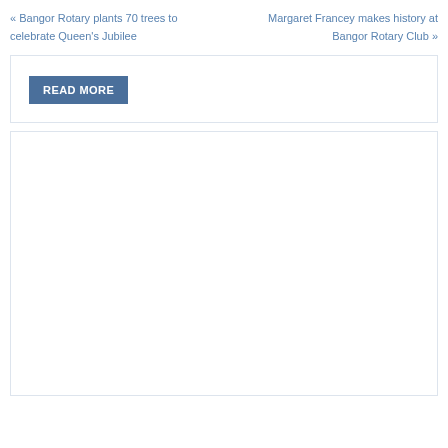« Bangor Rotary plants 70 trees to celebrate Queen's Jubilee
Margaret Francey makes history at Bangor Rotary Club »
READ MORE
[Figure (other): Empty white box with light border]